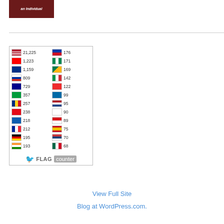[Figure (other): Dark red book/blog header banner with italic white text reading 'an Individual']
[Figure (table-as-image): Flag Counter widget showing country flags with visitor counts: US 21,225 | PH 176 | CA 1,223 | NG 171 | GB 1,159 | ZA 169 | RU 809 | IT 142 | AU 729 | NO 122 | BR 357 | SE 99 | RO 257 | NL 95 | TR 238 | KR 90 | GR 218 | CZ 89 | FR 212 | ES 75 | DE 195 | RS 70 | IN 193 | MX 68]
View Full Site
Blog at WordPress.com.